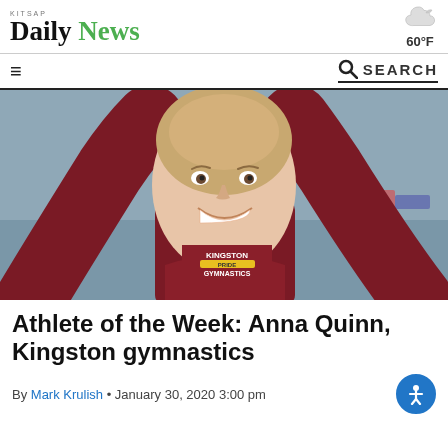KITSAP Daily News | 60°F
☰  🔍 SEARCH
[Figure (photo): Young woman in a dark maroon Kingston Gymnastics jacket smiling with both arms raised above her head in a gymnasium setting.]
Athlete of the Week: Anna Quinn, Kingston gymnastics
By Mark Krulish • January 30, 2020 3:00 pm